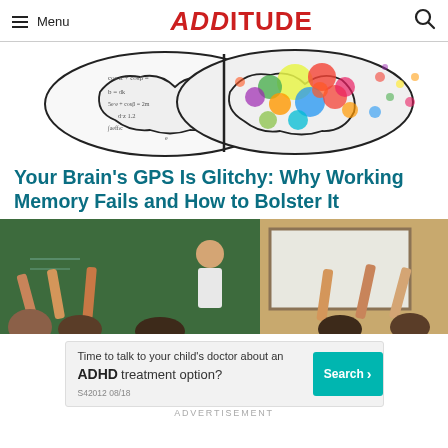Menu | ADDITUDE
[Figure (illustration): Split brain illustration: left half shows black-and-white mathematical equations and formulas; right half shows colorful paint splatter artwork in red, yellow, green, blue, and pink]
Your Brain's GPS Is Glitchy: Why Working Memory Fails and How to Bolster It
[Figure (photo): Classroom photo showing students raising their hands with a teacher standing in front of a green chalkboard and white board]
[Figure (other): Advertisement banner: 'Time to talk to your child's doctor about an ADHD treatment option?' with a teal Search button and code S42012 08/18]
ADVERTISEMENT